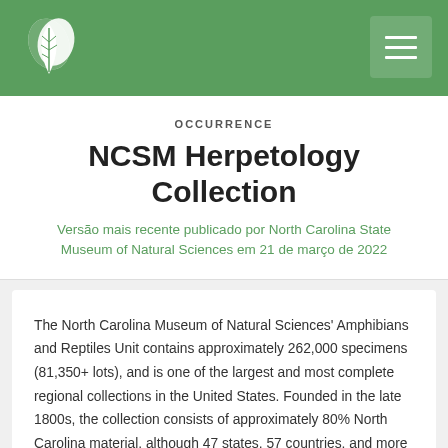NCSM Herpetology Collection
OCCURRENCE
NCSM Herpetology Collection
Versão mais recente publicado por North Carolina State Museum of Natural Sciences em 21 de março de 2022
The North Carolina Museum of Natural Sciences' Amphibians and Reptiles Unit contains approximately 262,000 specimens (81,350+ lots), and is one of the largest and most complete regional collections in the United States. Founded in the late 1800s, the collection consists of approximately 80% North Carolina material, although 47 states, 57 countries, and more than 640 species are represented. Other states with substantial representation include California, Delaware, Georgia